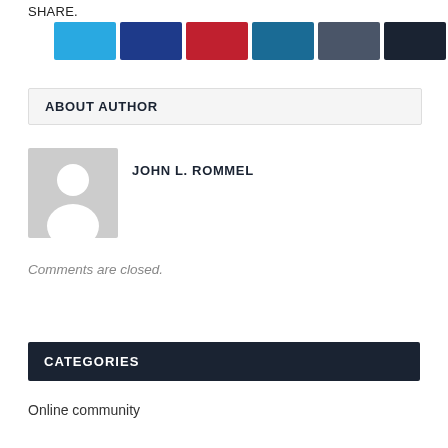SHARE.
[Figure (other): Six social media share buttons in colors: Twitter (light blue), Facebook (dark blue), Pinterest (red), LinkedIn (dark teal), Tumblr (slate blue), More (dark navy)]
ABOUT AUTHOR
[Figure (photo): Generic user avatar placeholder — grey background with a white silhouette person icon]
JOHN L. ROMMEL
Comments are closed.
CATEGORIES
Online community